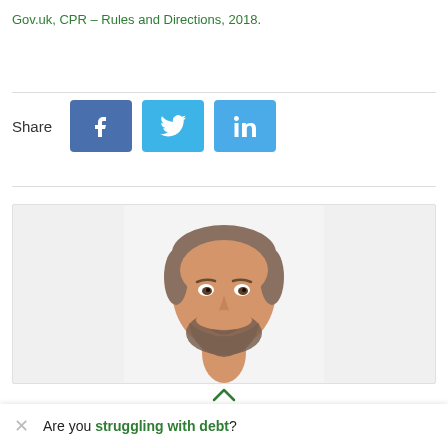Gov.uk, CPR – Rules and Directions, 2018.
[Figure (photo): Social media share buttons: Facebook (blue), Twitter (light blue), LinkedIn (light blue), with 'Share' label on the left.]
[Figure (photo): Headshot of a smiling man with short brown hair and a beard, light background.]
Are you struggling with debt?